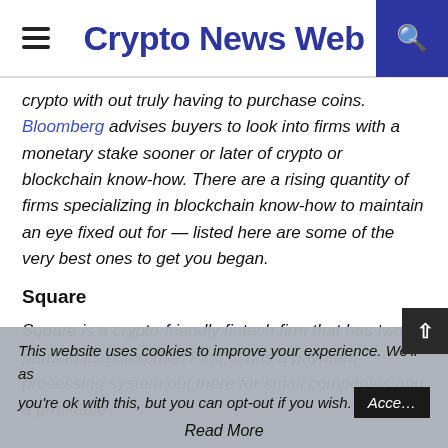Crypto News Web
crypto with out truly having to purchase coins. Bloomberg advises buyers to look into firms with a monetary stake sooner or later of crypto or blockchain know-how. There are a rising quantity of firms specializing in blockchain know-how to maintain an eye fixed out for — listed here are some of the very best ones to get you began.
Square
Square is a crypto-friendly fintech firm that has two parts to its enterprise. First, it has a payment-processing system out there for small companies and a profitable
This website uses cookies to improve your experience. We'll as you're ok with this, but you can opt-out if you wish. Accept Read More